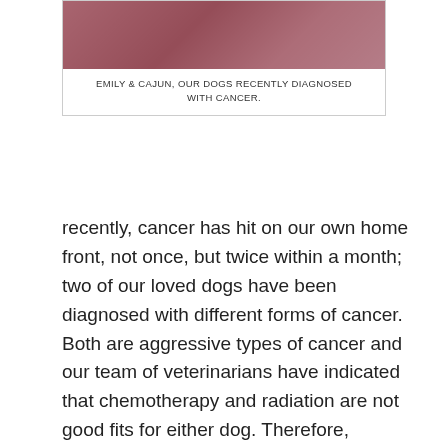[Figure (photo): Photo of two dogs named Emily and Cajun, recently diagnosed with cancer, appearing to rest together]
EMILY & CAJUN, OUR DOGS RECENTLY DIAGNOSED WITH CANCER.
recently, cancer has hit on our own home front, not once, but twice within a month; two of our loved dogs have been diagnosed with different forms of cancer. Both are aggressive types of cancer and our team of veterinarians have indicated that chemotherapy and radiation are not good fits for either dog. Therefore, alternatives to keep them comfortable and battle cancer are not just complimentary, they are imperative. We are reminded firsthand how it feels to go through this experience. Even as a holistic animal wellness practitioner that deals with disease, hospice and death regularly, it's traumatic, devastating and exhausting – both physically and emotionally – to grasp that our loved